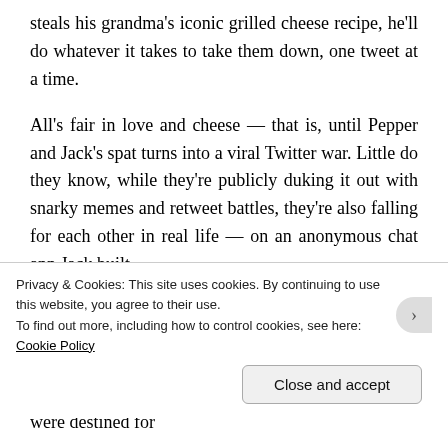steals his grandma's iconic grilled cheese recipe, he'll do whatever it takes to take them down, one tweet at a time.
All's fair in love and cheese — that is, until Pepper and Jack's spat turns into a viral Twitter war. Little do they know, while they're publicly duking it out with snarky memes and retweet battles, they're also falling for each other in real life — on an anonymous chat app Jack built.
As their relationship deepens and their online shenanigans escalate — people on the internet are shipping them?? — their battle gets more and more personal until even these two rivals can't ignore they were destined for
Privacy & Cookies: This site uses cookies. By continuing to use this website, you agree to their use.
To find out more, including how to control cookies, see here: Cookie Policy
Close and accept